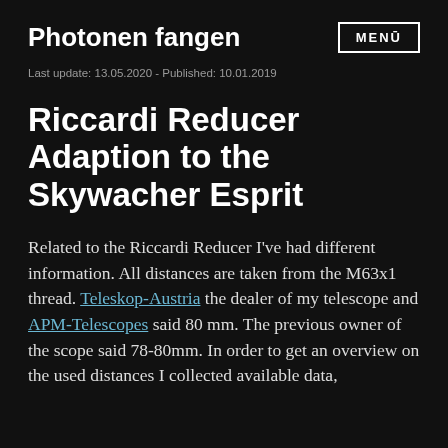Photonen fangen
Last update: 13.05.2020 - Published: 10.01.2019
Riccardi Reducer Adaption to the Skywacher Esprit
Related to the Riccardi Reducer I've had different information. All distances are taken from the M63x1 thread. Teleskop-Austria the dealer of my telescope and APM-Telescopes said 80 mm. The previous owner of the scope said 78-80mm. In order to get an overview on the used distances I collected available data,